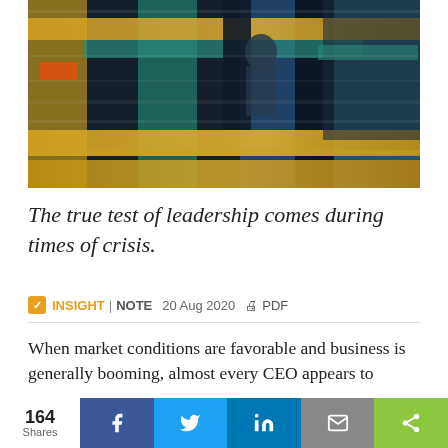[Figure (photo): Motion-blurred street scene with a person visible between transit vehicles, featuring yellow, teal, and dark tones with strong horizontal blur effect suggesting movement.]
The true test of leadership comes during times of crisis.
✓ INSIGHT | NOTE  20 Aug 2020  🖨 PDF
When market conditions are favorable and business is generally booming, almost every CEO appears to
164 Shares